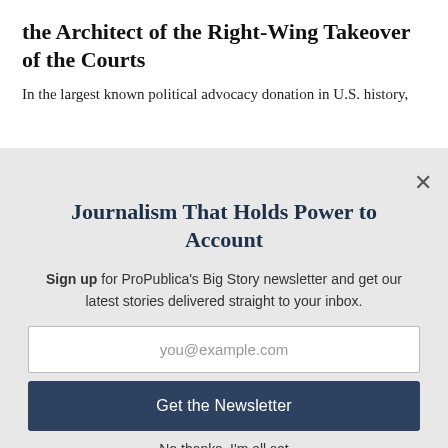the Architect of the Right-Wing Takeover of the Courts
In the largest known political advocacy donation in U.S. history,
Journalism That Holds Power to Account
Sign up for ProPublica's Big Story newsletter and get our latest stories delivered straight to your inbox.
you@example.com
Get the Newsletter
No thanks, I'm all set
This site is protected by reCAPTCHA and the Google Privacy Policy and Terms of Service apply.